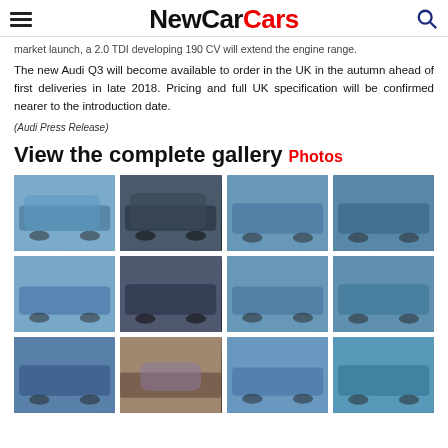NewCarCars
market launch, a 2.0 TDI developing 190 CV will extend the engine range.
The new Audi Q3 will become available to order in the UK in the autumn ahead of first deliveries in late 2018. Pricing and full UK specification will be confirmed nearer to the introduction date.
(Audi Press Release)
View the complete gallery Photos
[Figure (photo): Audi Q3 front three-quarter view in blue driving on road]
[Figure (photo): Audi Q3 front view in black/dark driving on road]
[Figure (photo): Audi Q3 rear view in blue driving on road]
[Figure (photo): Audi Q3 rear three-quarter view in blue driving on road]
[Figure (photo): Audi Q3 front view in blue driving on road]
[Figure (photo): Audi Q3 rear three-quarter view in dark color on road]
[Figure (photo): Audi Q3 rear view in blue driving on road]
[Figure (photo): Audi Q3 rear three-quarter view in blue driving on road]
[Figure (photo): Audi Q3 rear view in dark blue driving on road]
[Figure (photo): Audi Q3 side/profile view in dark on open road]
[Figure (photo): Audi Q3 front view in blue driving on road]
[Figure (photo): Audi Q3 rear three-quarter view in blue driving on road]